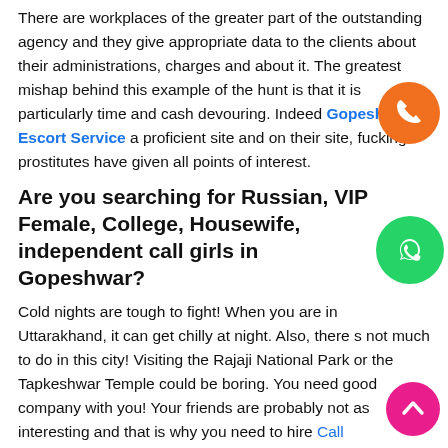There are workplaces of the greater part of the outstanding agency and they give appropriate data to the clients about their administrations, charges and about it. The greatest mishap behind this example of the hunt is that it is particularly time and cash devouring. Indeed Gopeshwar Escort Service a proficient site and on their site, fucking prostitutes have given all points of interest.
Are you searching for Russian, VIP Female, College, Housewife, independent call girls in Gopeshwar?
Cold nights are tough to fight! When you are in Uttarakhand, it can get chilly at night. Also, there s not much to do in this city! Visiting the Rajaji National Park or the Tapkeshwar Temple could be boring. You need good company with you! Your friends are probably not as interesting and that is why you need to hire Call